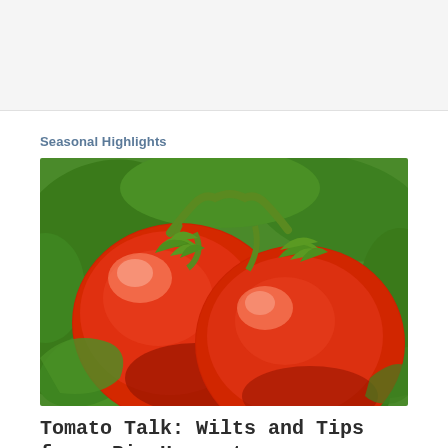[Figure (other): Gray banner/header area at the top of the page]
Seasonal Highlights
[Figure (photo): Close-up photograph of two ripe red tomatoes on the vine surrounded by green leaves]
Tomato Talk: Wilts and Tips for a Big Harvest
Nothing causes that sinking feeling like walking into the